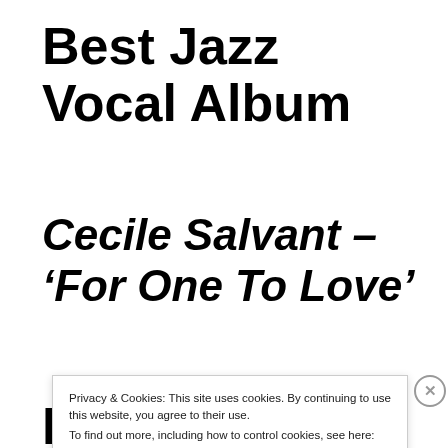Best Jazz Vocal Album
Cecile Salvant – ‘For One To Love’
Best Jazz
Privacy & Cookies: This site uses cookies. By continuing to use this website, you agree to their use.
To find out more, including how to control cookies, see here: Cookie Policy
Close and accept